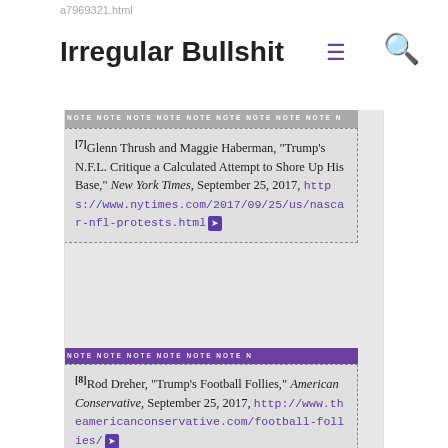a7969321.html
Irregular Bullshit
[7]Glenn Thrush and Maggie Haberman, “Trump’s N.F.L. Critique a Calculated Attempt to Shore Up His Base,” New York Times, September 25, 2017, https://www.nytimes.com/2017/09/25/us/nascar-nfl-protests.html
[8]Rod Dreher, “Trump’s Football Follies,” American Conservative, September 25, 2017, http://www.theamericanconservative.com/football-follies/
[9]Joe Fitzgerald Rodriguez, “SFPD: Uber, Lyft account for…